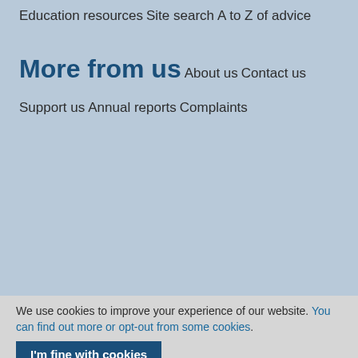Education resources
Site search
A to Z of advice
More from us
About us
Contact us
Support us
Annual reports
Complaints
We use cookies to improve your experience of our website. You can find out more or opt-out from some cookies.
I'm fine with cookies